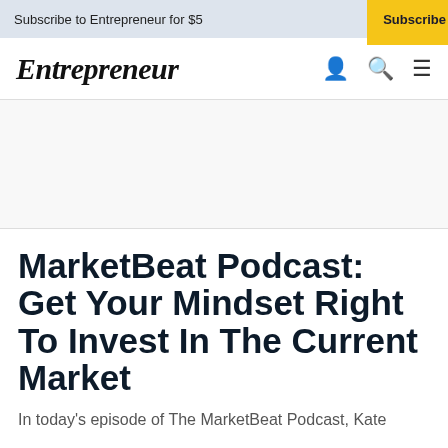Subscribe to Entrepreneur for $5
Subscribe
Entrepreneur
MarketBeat Podcast: Get Your Mindset Right To Invest In The Current Market
In today's episode of The MarketBeat Podcast, Kate